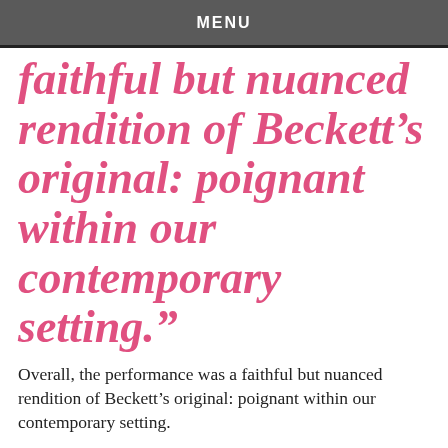MENU
faithful but nuanced rendition of Beckett's original: poignant within our contemporary setting.”
Overall, the performance was a faithful but nuanced rendition of Beckett’s original: poignant within our contemporary setting.
[Figure (other): Row of social sharing icons: Facebook, Twitter, WhatsApp, Gmail, Share+]